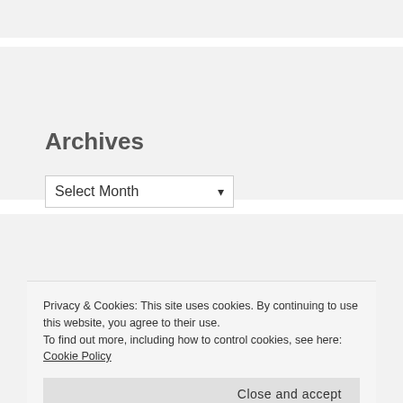Archives
Select Month
Tags
Alpine Meadows
Privacy & Cookies: This site uses cookies. By continuing to use this website, you agree to their use.
To find out more, including how to control cookies, see here: Cookie Policy
Close and accept
Photography  Photo manipulation  Queensland